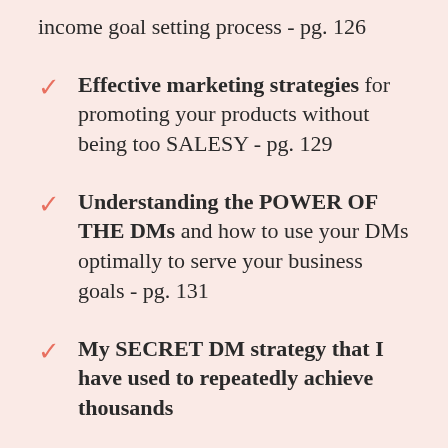income goal setting process - pg. 126
Effective marketing strategies for promoting your products without being too SALESY - pg. 129
Understanding the POWER OF THE DMs and how to use your DMs optimally to serve your business goals - pg. 131
My SECRET DM strategy that I have used to repeatedly achieve thousands